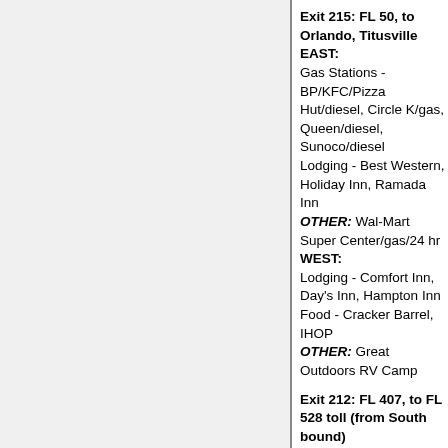Exit 215: FL 50, to Orlando, Titusville
EAST:
Gas Stations - BP/KFC/Pizza Hut/diesel, Circle K/gas, Dairy Queen/diesel, Sunoco/diesel
Lodging - Best Western, Holiday Inn, Ramada Inn
OTHER: Wal-Mart Super Center/gas/24 hr
WEST:
Lodging - Comfort Inn, Day's Inn, Hampton Inn
Food - Cracker Barrel, IHOP
OTHER: Great Outdoors RV Camp
Exit 212: FL 407, to FL 528 toll (from South bound)
No services
Exit 208: Port St. John
No services
Exit 205: FL 528 (West bound toll), to Cape Canaveral
No services
Exit 202: FL 524, Cocoa
EAST:
Gas Stations - Shell/diesel
Lodging - Day's Inn, Ramada Inn, Super 8
Exit 201: FL 520, to Cocoa Beach, Cocoa
EAST:
Gas Stations - BP/diesel, Chevron, Pilot/Subway/diesel
Lodging - Best Western, Budget Inn
Food - IHOP, Olive Garden (6 mi), Waffle House